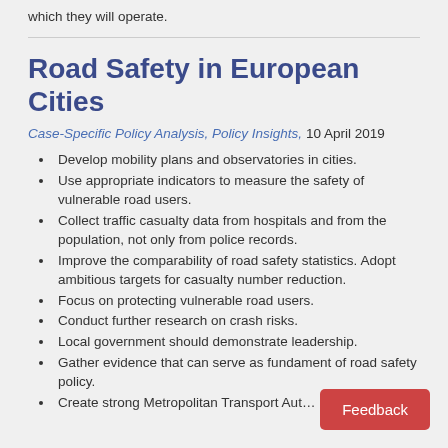which they will operate.
Road Safety in European Cities
Case-Specific Policy Analysis, Policy Insights, 10 April 2019
Develop mobility plans and observatories in cities.
Use appropriate indicators to measure the safety of vulnerable road users.
Collect traffic casualty data from hospitals and from the population, not only from police records.
Improve the comparability of road safety statistics. Adopt ambitious targets for casualty number reduction.
Focus on protecting vulnerable road users.
Conduct further research on crash risks.
Local government should demonstrate leadership.
Gather evidence that can serve as fundament of road safety policy.
Create strong Metropolitan Transport Aut…